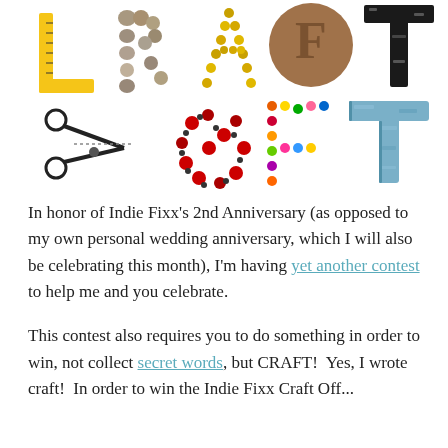[Figure (illustration): Decorative 'CRAFT OFF' text spelled out using craft materials: L made of a yellow ruler, R made of pebbles/stones, A made of gold beads/chain, F made of a bronze coin/button, T made of black stamped letters; O made of scissors shape, second O made of red rhinestones/gems arranged in circle, F made of colorful candy dots, T made of a weathered metal letter]
In honor of Indie Fixx’s 2nd Anniversary (as opposed to my own personal wedding anniversary, which I will also be celebrating this month), I’m having yet another contest to help me and you celebrate.
This contest also requires you to do something in order to win, not collect secret words, but CRAFT!  Yes, I wrote craft!  In order to win the Indie Fixx Craft Off...